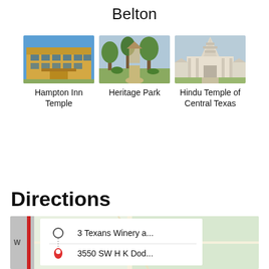Belton
[Figure (photo): Photo of Hampton Inn Temple - hotel building exterior with blue sky]
Hampton Inn Temple
[Figure (photo): Photo of Heritage Park - park with trees and path]
Heritage Park
[Figure (photo): Photo of Hindu Temple of Central Texas - white temple building]
Hindu Temple of Central Texas
Directions
[Figure (map): Map showing directions with waypoints: 3 Texans Winery a... and 3550 SW H K Dod...]